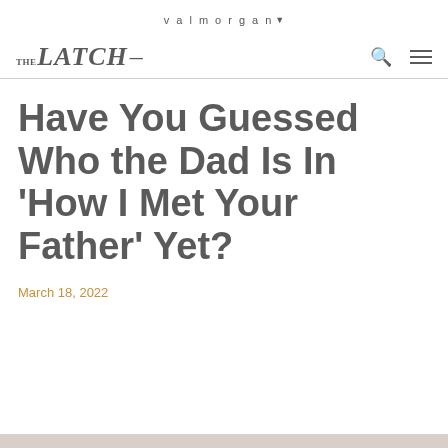valmorgan▼
THE LATCH—
Have You Guessed Who the Dad Is In 'How I Met Your Father' Yet?
March 18, 2022